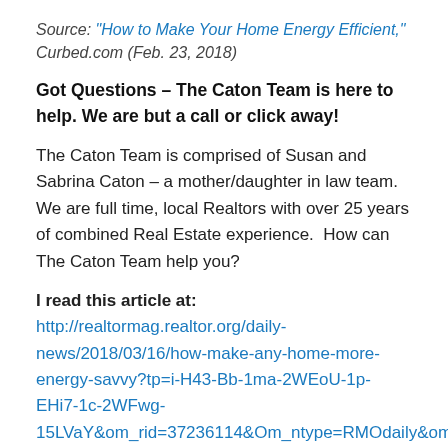Source: “How to Make Your Home Energy Efficient,” Curbed.com (Feb. 23, 2018)
Got Questions – The Caton Team is here to help. We are but a call or click away!
The Caton Team is comprised of Susan and Sabrina Caton – a mother/daughter in law team.  We are full time, local Realtors with over 25 years of combined Real Estate experience.  How can The Caton Team help you?
I read this article at: http://realtormag.realtor.org/daily-news/2018/03/16/how-make-any-home-more-energy-savvy?tp=i-H43-Bb-1ma-2WEoU-1p-EHi7-1c-2WFwg-15LVaY&om_rid=37236114&Om_ntype=RMOdaily&om_mid=6856
Remember to follow our Blog for the local real estate